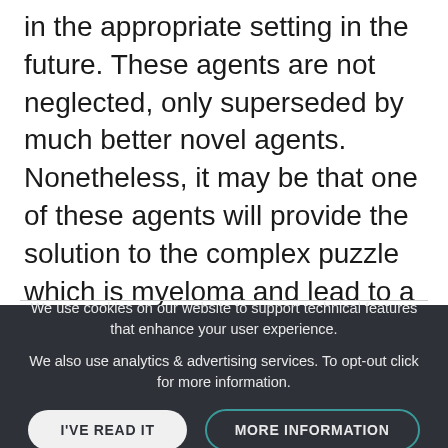in the appropriate setting in the future. These agents are not neglected, only superseded by much better novel agents. Nonetheless, it may be that one of these agents will provide the solution to the complex puzzle which is myeloma and lead to a cure. I still have my P-glycoprotein files and publications - now stored in the cloud somewhere! Stay tuned for any updates, whenever they occur.
We use cookies on our website to support technical features that enhance your user experience.
We also use analytics & advertising services. To opt-out click for more information.